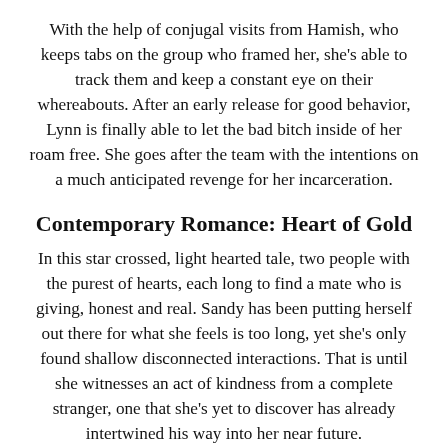With the help of conjugal visits from Hamish, who keeps tabs on the group who framed her, she's able to track them and keep a constant eye on their whereabouts. After an early release for good behavior, Lynn is finally able to let the bad bitch inside of her roam free. She goes after the team with the intentions on a much anticipated revenge for her incarceration.
Contemporary Romance: Heart of Gold
In this star crossed, light hearted tale, two people with the purest of hearts, each long to find a mate who is giving, honest and real. Sandy has been putting herself out there for what she feels is too long, yet she's only found shallow disconnected interactions. That is until she witnesses an act of kindness from a complete stranger, one that she's yet to discover has already intertwined his way into her near future.